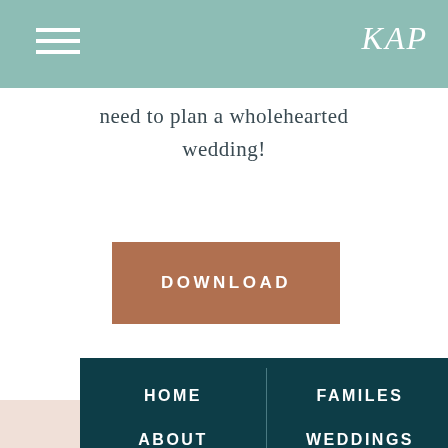KAP
need to plan a wholehearted wedding!
[Figure (other): Download button — brown/terracotta rectangle with white uppercase text reading DOWNLOAD]
HOME | FAMILES | ABOUT | WEDDINGS